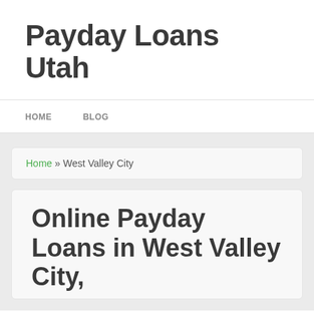Payday Loans Utah
HOME   BLOG
Home » West Valley City
Online Payday Loans in West Valley City,